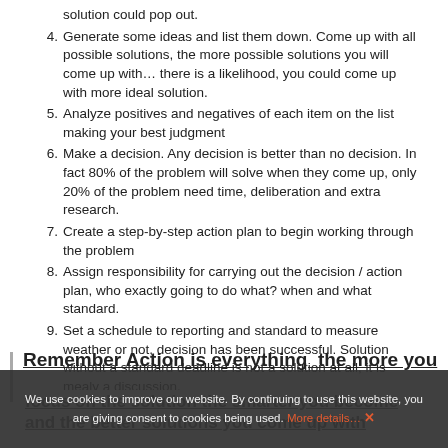solution could pop out.
4. Generate some ideas and list them down. Come up with all possible solutions, the more possible solutions you will come up with… there is a likelihood, you could come up with more ideal solution.
5. Analyze positives and negatives of each item on the list making your best judgment
6. Make a decision. Any decision is better than no decision. In fact 80% of the problem will solve when they come up, only 20% of the problem need time, deliberation and extra research.
7. Create a step-by-step action plan to begin working through the problem
8. Assign responsibility for carrying out the decision / action plan, who exactly going to do what? when and what standard.
9. Set a schedule to reporting and standard to measure weather or not, decision has been successful. Solution without a standard deadline is not a solution at all, it is mealy a discussion.
10. Task yourself or ask someone to take definite action, to implement the solution and to solve the problem.
Remember Action is everything  the more you focus on the solution the smarter you become and the better solutions you come up with
We use cookies to improve our website. By continuing to use this website, you are giving consent to cookies being used. More details… ✕